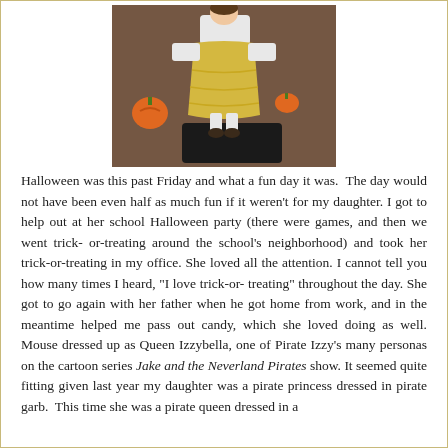[Figure (photo): A child in a yellow/gold costume dress with white top, standing on a brown carpet near Halloween decorations including pumpkins and a black tray.]
Halloween was this past Friday and what a fun day it was. The day would not have been even half as much fun if it weren't for my daughter. I got to help out at her school Halloween party (there were games, and then we went trick-or-treating around the school's neighborhood) and took her trick-or-treating in my office. She loved all the attention. I cannot tell you how many times I heard, "I love trick-or-treating" throughout the day. She got to go again with her father when he got home from work, and in the meantime helped me pass out candy, which she loved doing as well. Mouse dressed up as Queen Izzybella, one of Pirate Izzy's many personas on the cartoon series Jake and the Neverland Pirates show. It seemed quite fitting given last year my daughter was a pirate princess dressed in pirate garb. This time she was a pirate queen dressed in a